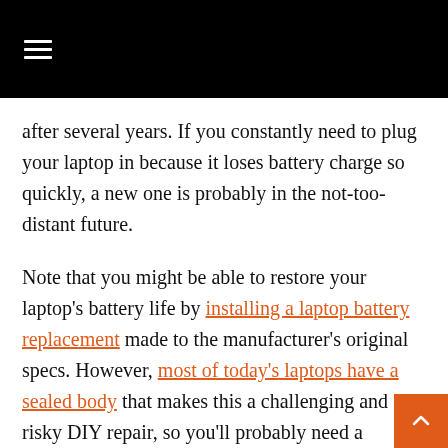≡
after several years. If you constantly need to plug your laptop in because it loses battery charge so quickly, a new one is probably in the not-too-distant future.
Note that you might be able to restore your laptop's battery life by installing a laptop battery replacement made to the manufacturer's original specs. However, most of today's laptops have a sealed body that makes this a challenging and risky DIY repair, so you'll probably need a professional to do it unless your laptop is one of the relatively few that still has a user-serviceable battery. With laptops that are already on the